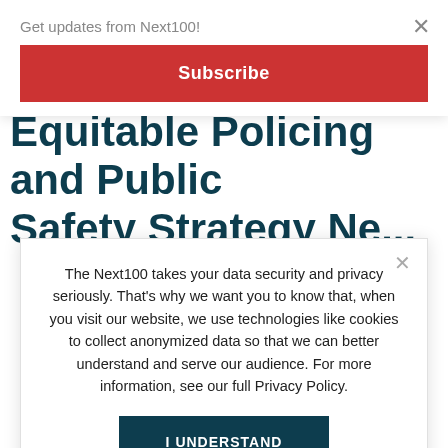Equitable Policing and Public Safety Strategy News
Get updates from Next100!
Subscribe
The Next100 takes your data security and privacy seriously. That's why we want you to know that, when you visit our website, we use technologies like cookies to collect anonymized data so that we can better understand and serve our audience. For more information, see our full Privacy Policy.
I UNDERSTAND